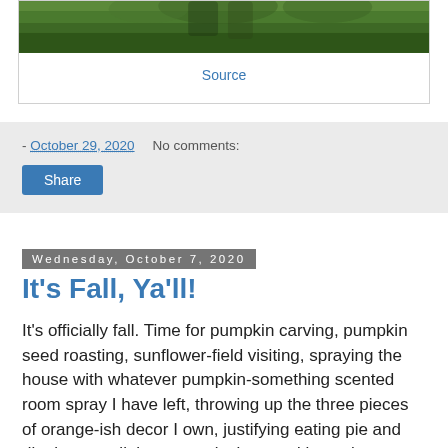[Figure (photo): Partial photo of people in a green field/garden, cropped at top]
Source
- October 29, 2020   No comments:
Share
Wednesday, October 7, 2020
It's Fall, Ya'll!
It's officially fall. Time for pumpkin carving, pumpkin seed roasting, sunflower-field visiting, spraying the house with whatever pumpkin-something scented room spray I have left, throwing up the three pieces of orange-ish decor I own, justifying eating pie and digging out all those cute jackets and long sleeves that have been patiently waiting in their cubby holes since last year. Fall also means it's only 2